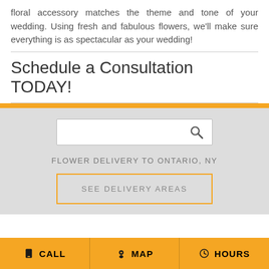floral accessory matches the theme and tone of your wedding. Using fresh and fabulous flowers, we'll make sure everything is as spectacular as your wedding!
Schedule a Consultation TODAY!
[Figure (other): Search box with magnifying glass icon on gray background, followed by 'FLOWER DELIVERY TO ONTARIO, NY' text and 'SEE DELIVERY AREAS' button with orange border]
CALL  MAP  HOURS